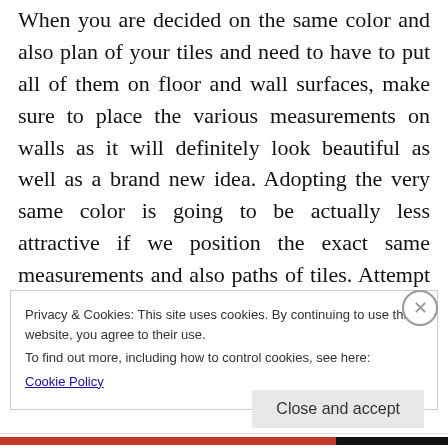When you are decided on the same color and also plan of your tiles and need to have to put all of them on floor and wall surfaces, make sure to place the various measurements on walls as it will definitely look beautiful as well as a brand new idea. Adopting the very same color is going to be actually less attractive if we position the exact same measurements and also paths of tiles. Attempt to put the different measurements on the flooring as well as wall so it can get tourist attractions.
Privacy & Cookies: This site uses cookies. By continuing to use this website, you agree to their use.
To find out more, including how to control cookies, see here:
Cookie Policy
Close and accept